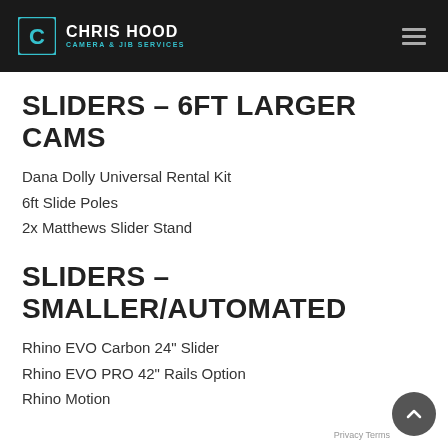CHRIS HOOD CAMERA & JIB SERVICES
SLIDERS – 6FT LARGER CAMS
Dana Dolly Universal Rental Kit
6ft Slide Poles
2x Matthews Slider Stand
SLIDERS – SMALLER/AUTOMATED
Rhino EVO Carbon 24" Slider
Rhino EVO PRO 42" Rails Option
Rhino Motion